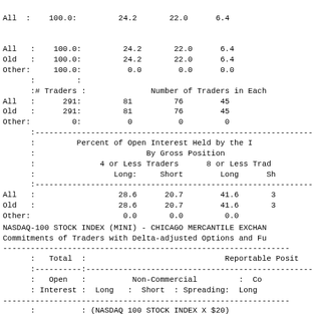| All | : | 100.0: |  | 24.2 |  | 22.0 |  | 6.4 |
| Old | : | 100.0: |  | 24.2 |  | 22.0 |  | 6.4 |
| Other: |  | 100.0: |  | 0.0 |  | 0.0 |  | 0.0 |
|  | : |  | : |  |  |  |  |  |
|  | :# Traders : |  |  | Number of Traders in Each |
| All | : | 291: |  | 81 |  | 76 |  | 45 |
| Old | : | 291: |  | 81 |  | 76 |  | 45 |
| Other: |  | 0: |  | 0 |  | 0 |  | 0 |
|  |  | Percent of Open Interest Held by the |
|  |  | By Gross Position |
|  |  | 4 or Less Traders |  | 8 or Less Tra |
|  |  | Long: |  | Short |  | Long |  | Sh |
| All | : |  | 28.6 |  | 20.7 |  | 41.6 |
| Old | : |  | 28.6 |  | 20.7 |  | 41.6 |
| Other: |  |  | 0.0 |  | 0.0 |  | 0.0 |
NASDAQ-100 STOCK INDEX (MINI) - CHICAGO MERCANTILE EXCHAN
Commitments of Traders with Delta-adjusted Options and Fu
| : Total : |  |  |  | Reportable Posit |
| --- | --- | --- | --- | --- |
| : Open : |  | Non-Commercial |  | : Co |
| : Interest : | Long | : Short | : Spreading: | Long |
|  | : |  |  | : (NASDAQ 100 STOCK INDEX X $20) |
|  | : |
| All | : | 379,376: |  | 91,845 |  | 83,582 |  | 24,226 |  | 220, |
| Old | : | 379,376: |  | 91,845 |  | 83,582 |  | 24,226 |  | 220 |